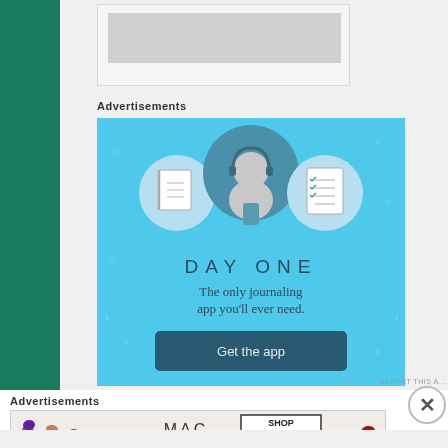[Figure (screenshot): Gray placeholder image box at top of page]
Advertisements
[Figure (screenshot): Day One journaling app advertisement: light blue background with stars, three circular icons (notebook, person with headphones, checklist), text 'DAY ONE - The only journaling app you'll ever need.' and a dark teal 'Get the app' button]
Advertisements
[Figure (screenshot): MAC cosmetics advertisement showing colorful lipsticks on left, MAC logo in center, and SHOP NOW button in a box on the right, red lipstick on far right]